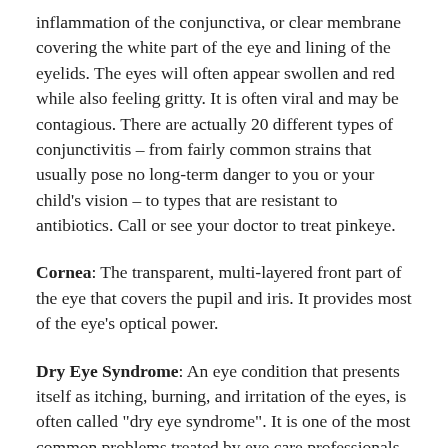inflammation of the conjunctiva, or clear membrane covering the white part of the eye and lining of the eyelids. The eyes will often appear swollen and red while also feeling gritty. It is often viral and may be contagious. There are actually 20 different types of conjunctivitis – from fairly common strains that usually pose no long-term danger to you or your child's vision – to types that are resistant to antibiotics. Call or see your doctor to treat pinkeye.
Cornea: The transparent, multi-layered front part of the eye that covers the pupil and iris. It provides most of the eye's optical power.
Dry Eye Syndrome: An eye condition that presents itself as itching, burning, and irritation of the eyes, is often called "dry eye syndrome". It is one of the most common problems treated by eye care professionals. It is usually caused by the breakdown (or deficiency) in the tears that lubricate the eyes. As we age, our bodies produce less oil to seal the eyes' watery